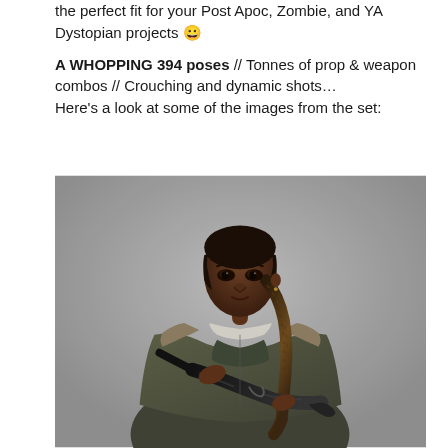the perfect fit for your Post Apoc, Zombie, and YA Dystopian projects 😀

A WHOPPING 394 poses // Tonnes of prop & weapon combos // Crouching and dynamic shots…
Here's a look at some of the images from the set:
[Figure (photo): A young Black woman with long braided hair wearing an olive/khaki parka jacket with fur-trimmed collar over a dark green tank top, holding a black rifle, posed against a neutral grey studio background.]